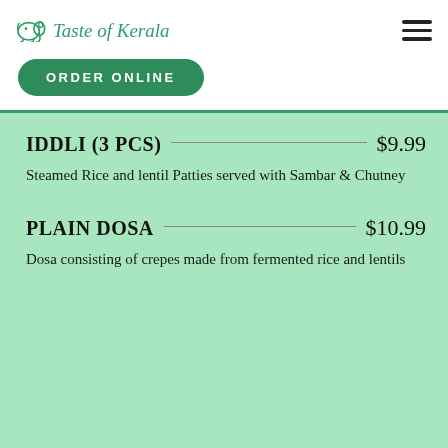Taste of Kerala
ORDER ONLINE
IDDLI (3 PCS) $9.99
Steamed Rice and lentil Patties served with Sambar & Chutney
PLAIN DOSA $10.99
Dosa consisting of crepes made from fermented rice and lentils